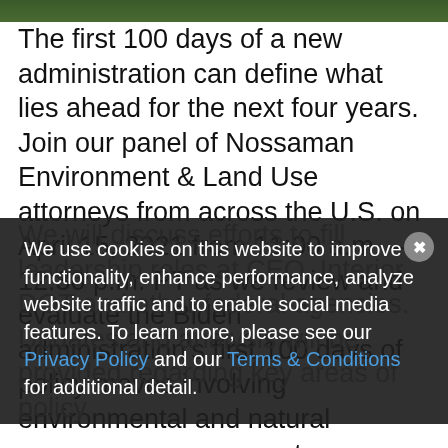[Figure (photo): Green nature/forest image banner at top of page]
The first 100 days of a new administration can define what lies ahead for the next four years. Join our panel of Nossaman Environment & Land Use attorneys from across the U.S. on April 15, 2021 from 11:00 a.m. – 12:30 p.m. PT as we review and evaluate the Biden administration's first 100 days of policy moves involving environmental and natural resources management.
We use cookies on this website to improve functionality, enhance performance, analyze website traffic and to enable social media features. To learn more, please see our Privacy Policy and our Terms & Conditions for additional detail.
We will discuss efforts to fill leadership roles at CEQ, Interior, DOT and other federal agencies. Updates and analysis will be provided regarding key areas of policy